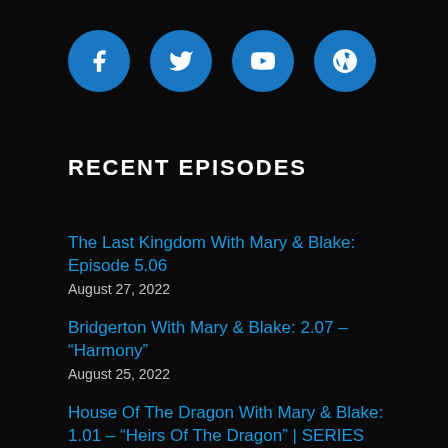[Figure (illustration): Four blue circular social media icon buttons in a row: Facebook, Twitter, YouTube, WordPress]
RECENT EPISODES
The Last Kingdom With Mary & Blake: Episode 5.06
August 27, 2022
Bridgerton With Mary & Blake: 2.07 – “Harmony”
August 25, 2022
House Of The Dragon With Mary & Blake: 1.01 – “Heirs Of The Dragon” | SERIES PREMIERE